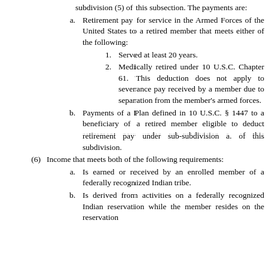subdivision (5) of this subsection. The payments are:
a.  Retirement pay for service in the Armed Forces of the United States to a retired member that meets either of the following:
1.  Served at least 20 years.
2.  Medically retired under 10 U.S.C. Chapter 61. This deduction does not apply to severance pay received by a member due to separation from the member's armed forces.
b.  Payments of a Plan defined in 10 U.S.C. § 1447 to a beneficiary of a retired member eligible to deduct retirement pay under sub-subdivision a. of this subdivision.
(6)  Income that meets both of the following requirements:
a.  Is earned or received by an enrolled member of a federally recognized Indian tribe.
b.  Is derived from activities on a federally recognized Indian reservation while the member resides on the reservation